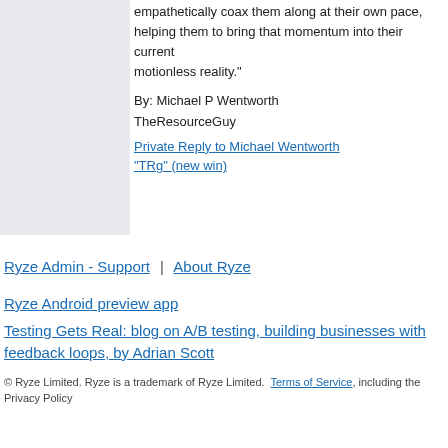empathetically coax them along at their own pace, helping them to bring that momentum into their current motionless reality."
By: Michael P Wentworth
TheResourceGuy
Private Reply to Michael Wentworth "TRg" (new win)
Ryze Admin - Support | About Ryze
Ryze Android preview app
Testing Gets Real: blog on A/B testing, building businesses with feedback loops, by Adrian Scott
© Ryze Limited. Ryze is a trademark of Ryze Limited. Terms of Service, including the Privacy Policy